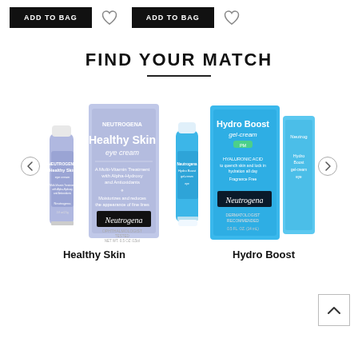[Figure (screenshot): Two ADD TO BAG buttons with heart/wishlist icons beside each, on a white background, top of e-commerce page.]
FIND YOUR MATCH
[Figure (photo): Neutrogena Healthy Skin Eye Cream product: tube and box packaging side by side. Left side of two-column product carousel.]
[Figure (photo): Neutrogena Hydro Boost Gel-Cream Eye product: tube and box packaging with additional partial box. Right side of two-column product carousel.]
Healthy Skin
Hydro Boost